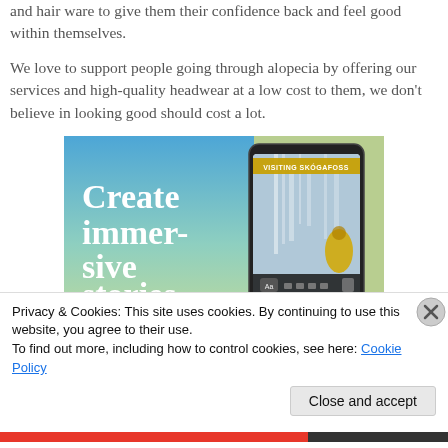and hair ware to give them their confidence back and feel good within themselves.
We love to support people going through alopecia by offering our services and high-quality headwear at a low cost to them, we don't believe in looking good should cost a lot.
[Figure (illustration): Advertisement banner with blue-green gradient background on left reading 'Create immersive stories.' in large white text, and on right a mobile phone screen showing a waterfall photo with text 'VISITING SKÓGAFOSS' and app interface elements.]
Privacy & Cookies: This site uses cookies. By continuing to use this website, you agree to their use.
To find out more, including how to control cookies, see here: Cookie Policy
Close and accept